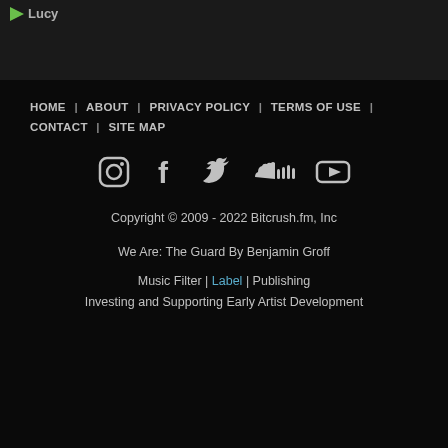Lucy
HOME | ABOUT | PRIVACY POLICY | TERMS OF USE | CONTACT | SITE MAP
[Figure (other): Social media icons: Instagram, Facebook, Twitter, SoundCloud, YouTube]
Copyright © 2009 - 2022 Bitcrush.fm, Inc
We Are: The Guard By Benjamin Groff
Music Filter | Label | Publishing Investing and Supporting Early Artist Development